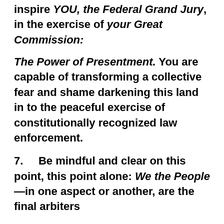inspire YOU, the Federal Grand Jury, in the exercise of your Great Commission: The Power of Presentment. You are capable of transforming a collective fear and shame darkening this land in to the peaceful exercise of constitutionally recognized law enforcement.
7.     Be mindful and clear on this point, this point alone: We the People—in one aspect or another, are the final arbiters